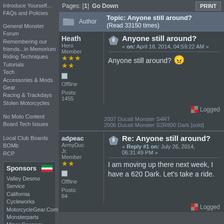FAQs and Policies
General Monster Forum
Remembering our friends...in Memorium
Riding Techniques
Tutorials
Tech
Accessories & Mods
Gear
Racing & Trackdays
Stolen Motorcycles
No Moto Content
Board Tech Issues
Local Club Boards
BOMb
RCP
Sponsors
Valley Desmo Service
California Cycleworks
MotorcycleGear.Com
Monsterparts
Minor Sponsor Board
Sponsor Info
Pages: [1]  Go Down
|  | Author | Topic: Anyone still around? (Read 33150 times) |
| --- | --- | --- |
Heath
Hero Member
Offline
Posts: 1455
Anyone still around?
« on: April 18, 2014, 04:59:22 AM »
Anyone still around?
Logged
2007 Ducati Monster S4RT
2006 Ducati Monster S2R800 Dark [sold]
adpeac
ArmyDuc Jr. Member
Offline
Posts: 84
Re: Anyone still around?
« Reply #1 on: July 26, 2014, 06:31:49 PM »
I am moving up there next week, I have a 620 Dark.  Let's take a ride.
Logged